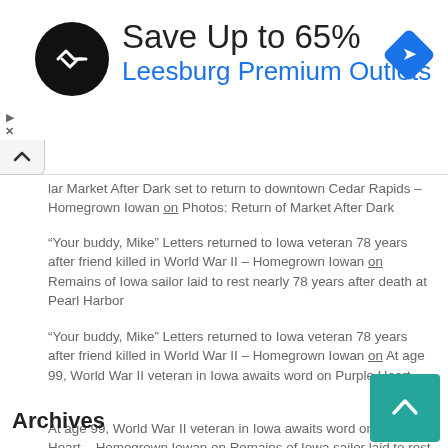[Figure (other): Advertisement banner: black circular logo with double arrow symbol, text 'Save Up to 65%' in dark, 'Leesburg Premium Outlets' in blue, blue diamond navigation icon on the right]
lar Market After Dark set to return to downtown Cedar Rapids – Homegrown Iowan on Photos: Return of Market After Dark
“Your buddy, Mike” Letters returned to Iowa veteran 78 years after friend killed in World War II – Homegrown Iowan on Remains of Iowa sailor laid to rest nearly 78 years after death at Pearl Harbor
“Your buddy, Mike” Letters returned to Iowa veteran 78 years after friend killed in World War II – Homegrown Iowan on At age 99, World War II veteran in Iowa awaits word on Purple Heart
At age 99, World War II veteran in Iowa awaits word on Purple Heart – Homegrown Iowan on Remains of Iowa sailor laid to rest nearly 78 years after death at Pearl Harbor
Archives